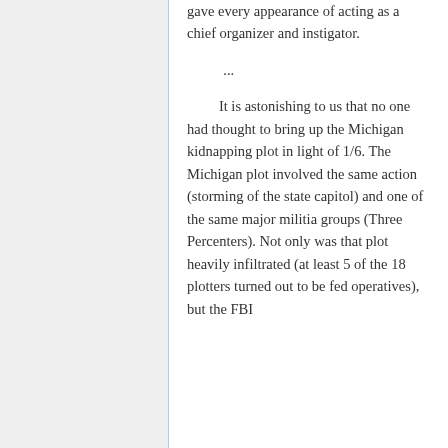gave every appearance of acting as a chief organizer and instigator.
...
It is astonishing to us that no one had thought to bring up the Michigan kidnapping plot in light of 1/6. The Michigan plot involved the same action (storming of the state capitol) and one of the same major militia groups (Three Percenters). Not only was that plot heavily infiltrated (at least 5 of the 18 plotters turned out to be fed operatives), but the FBI